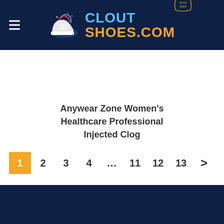[Figure (logo): CloutShoes.com logo with sneaker icon on dark navy header background, hamburger menu icon on left]
Anywear Zone Women's Healthcare Professional Injected Clog
1 2 3 4 ... 11 12 13 >